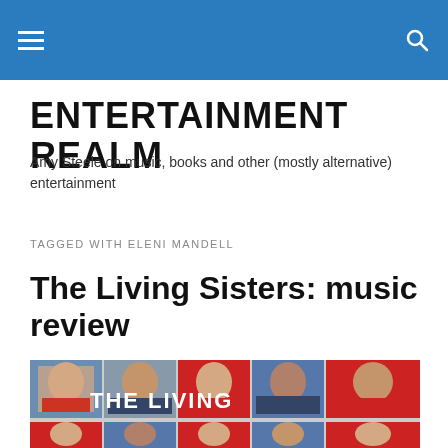ENTERTAINMENT REALM (navigation bar)
ENTERTAINMENT REALM
Amy Steele on music, books and other (mostly alternative) entertainment
TAGGED WITH ELENI MANDELL
The Living Sisters: music review
[Figure (photo): Album cover photo collage showing multiple women in photo booth style shots with text 'THE LIVING' overlaid]